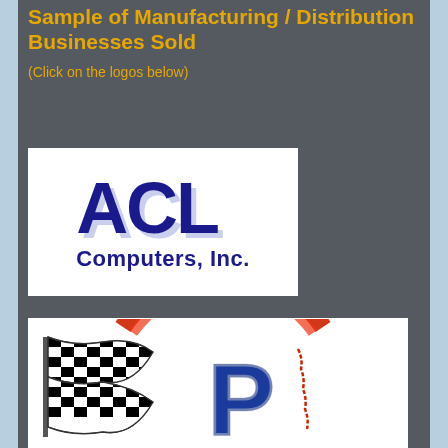Sample of Manufacturing / Distribution Businesses Sold
(Click on the logos below)
[Figure (logo): ACL Computers, Inc. logo — large blue bold letters ACL with light blue shadow effect, and 'Computers, Inc.' in dark blue below, on white background]
[Figure (logo): Racing company logo — checkered racing flag with blue letter P/R shape, red arc stripe, on white background]